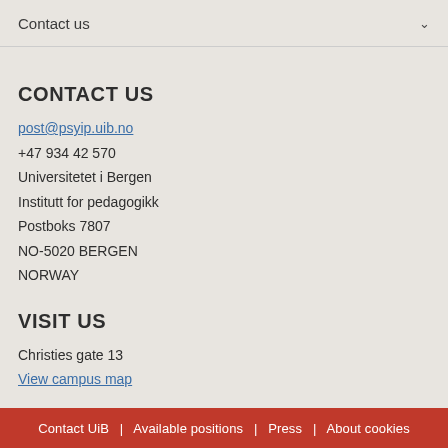Contact us
CONTACT US
post@psyip.uib.no
+47 934 42 570
Universitetet i Bergen
Institutt for pedagogikk
Postboks 7807
NO-5020 BERGEN
NORWAY
VISIT US
Christies gate 13
View campus map
Contact UiB | Available positions | Press | About cookies